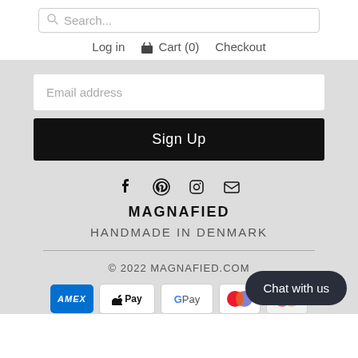Search...
Log in  Cart (0)  Checkout
Email address
Sign Up
[Figure (infographic): Social media icons: Facebook, Pinterest, Instagram, Email]
MAGNAFIED
HANDMADE IN DENMARK
© 2022 MAGNAFIED.COM
[Figure (infographic): Payment method icons: AMEX, Apple Pay, Google Pay, Mastercard]
Chat with us